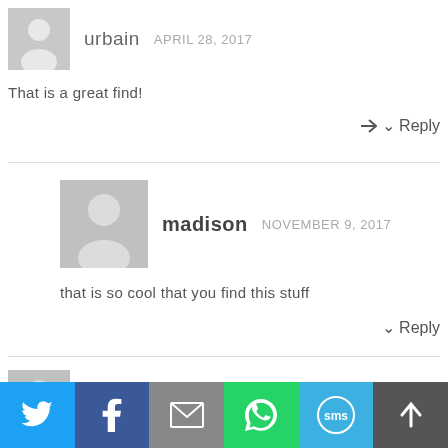urbain   APRIL 28, 2017
That is a great find!
Reply
madison   NOVEMBER 9, 2017
that is so cool that you find this stuff
Reply
Scott   JUNE 22, 2017